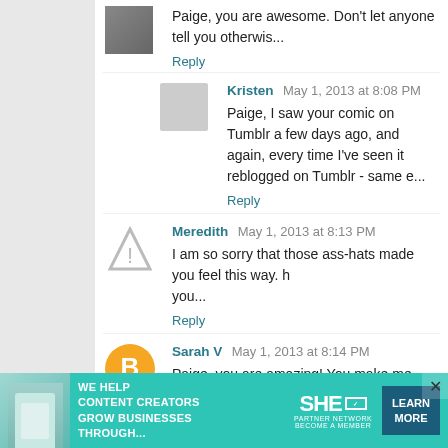Paige, you are awesome. Don't let anyone tell you otherwis...
Reply
Kristen  May 1, 2013 at 8:08 PM
Paige, I saw your comic on Tumblr a few days ago, and again, every time I've seen it reblogged on Tumblr - same e...
Reply
Meredith  May 1, 2013 at 8:13 PM
I am so sorry that those ass-hats made you feel this way. h you...
Reply
Sarah V  May 1, 2013 at 8:14 PM
Paige, you are amazing! You make me want to stand up a... we should get a huge group together, all shapes and size... should pose and take pictures of ourselves everywhere a... ward! The true mission of a superhero is to spread tr... he way we are. You are so talented! Let me know how...
[Figure (infographic): SHE Media Partner Network advertisement banner: 'We help content creators grow businesses through...' with Learn More button]